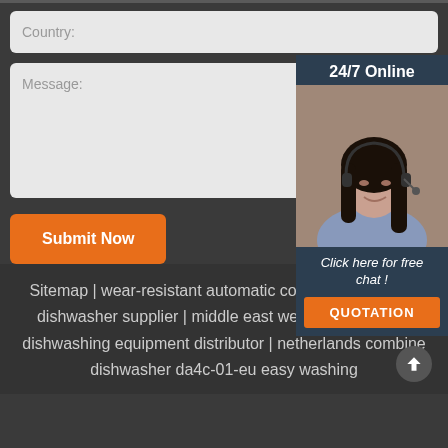[Figure (screenshot): Web form with Country input field, Message textarea, Submit Now button, and a 24/7 Online chat widget on the right side with a photo of a woman with headset, 'Click here for free chat!' text, and QUOTATION button]
Sitemap | wear-resistant automatic compact household dishwasher supplier | middle east wear-resistant sink dishwashing equipment distributor | netherlands combine dishwasher da4c-01-eu easy washing